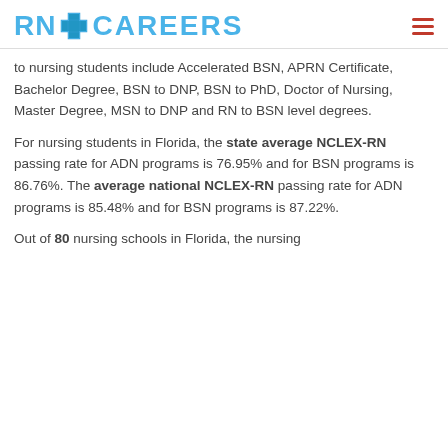RN + CAREERS
to nursing students include Accelerated BSN, APRN Certificate, Bachelor Degree, BSN to DNP, BSN to PhD, Doctor of Nursing, Master Degree, MSN to DNP and RN to BSN level degrees.
For nursing students in Florida, the state average NCLEX-RN passing rate for ADN programs is 76.95% and for BSN programs is 86.76%. The average national NCLEX-RN passing rate for ADN programs is 85.48% and for BSN programs is 87.22%.
Out of 80 nursing schools in Florida, the nursing